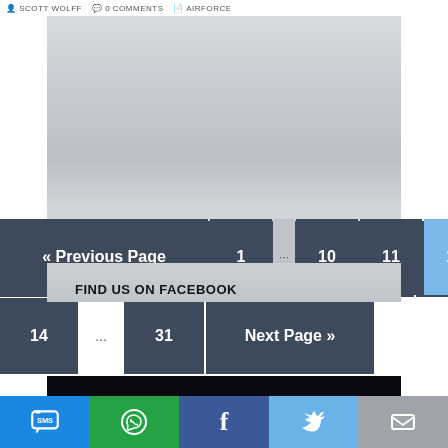SCOTT WOLFF  0 COMMENTS  AIRFORCE
[Figure (screenshot): Gray/light blue toned image area (aircraft or fabric texture background)]
« Previous Page
1
...
10
11
12 (current page, active)
13
14
...
31
Next Page »
FIND US ON FACEBOOK
[Figure (screenshot): Dark background newsletter signup banner with text SIGN UP FOR THE NEWSLETTER]
SIGN UP FOR THE NEWSLETTER
[Figure (infographic): Social sharing bar with SMS, WhatsApp, Facebook, Twitter, Email icons]